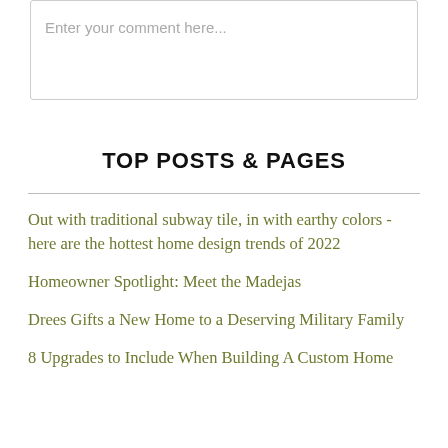Enter your comment here...
TOP POSTS & PAGES
Out with traditional subway tile, in with earthy colors - here are the hottest home design trends of 2022
Homeowner Spotlight: Meet the Madejas
Drees Gifts a New Home to a Deserving Military Family
8 Upgrades to Include When Building A Custom Home